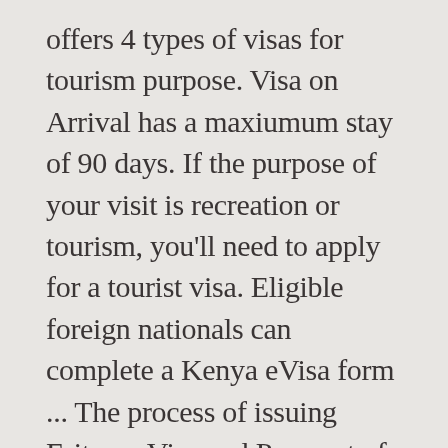offers 4 types of visas for tourism purpose. Visa on Arrival has a maxiumum stay of 90 days. If the purpose of your visit is recreation or tourism, you'll need to apply for a tourist visa. Eligible foreign nationals can complete a Kenya eVisa form ... The process of issuing Eritrean Visa and Passport of Eritrea can take few weeks. Passport holders of 25 countries need to obtain a visa before visiting. Eritrea Embassy to Kenya: detailed information on Eritrean Embassy and Consulates locations, including addresses, e-mails and phone numbers Passport and Visa Services for travel Visas Visa in Kenya, you 'll need to obtain a visa in order gain... The current Eritrean regime question as